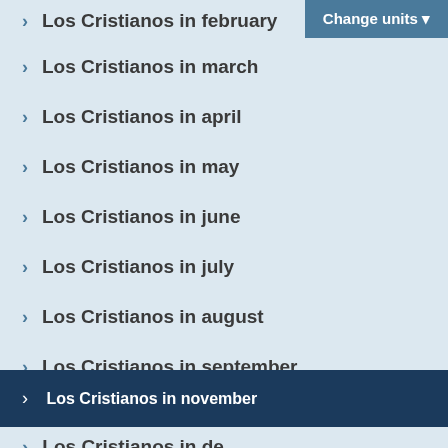Los Cristianos in february
Los Cristianos in march
Los Cristianos in april
Los Cristianos in may
Los Cristianos in june
Los Cristianos in july
Los Cristianos in august
Los Cristianos in september
Los Cristianos in october
Los Cristianos in november
Los Cristianos in december